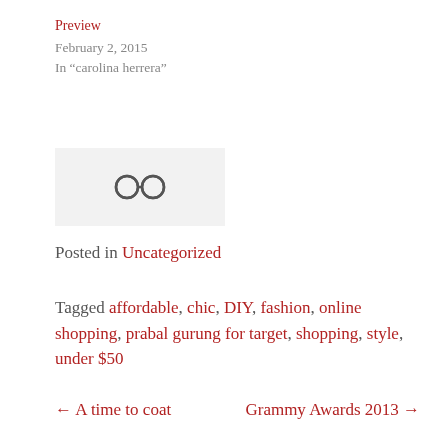Preview
February 2, 2015
In "carolina herrera"
[Figure (other): Link/share icon (two overlapping circles connected)]
Posted in Uncategorized
Tagged affordable, chic, DIY, fashion, online shopping, prabal gurung for target, shopping, style, under $50
← A time to coat
Grammy Awards 2013 →